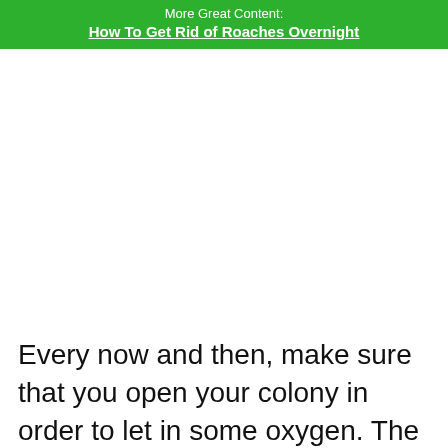More Great Content:
How To Get Rid of Roaches Overnight
Every now and then, make sure that you open your colony in order to let in some oxygen. The rest of the time, you can store your colony in a cool, dark place—never place your colony in direct sunlight.